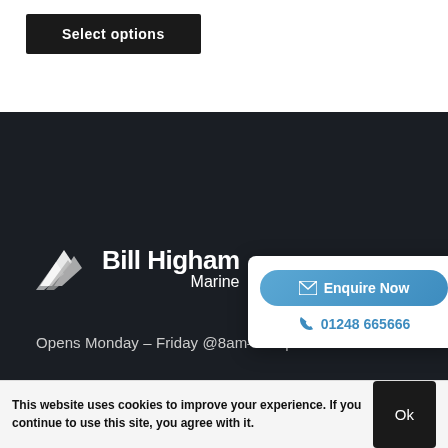Select options
[Figure (logo): Bill Higham Marine logo with stylized white boat/sail icon and text 'Bill Higham Marine' in white on dark background]
Opens Monday – Friday @8am–4:30pm
Bill Higham Marine
Talybont Uchaf far
LL57 3YW
sales@billhigham.co.uk (partially visible)
Enquire Now
01248 665666
This website uses cookies to improve your experience. If you continue to use this site, you agree with it.
Ok